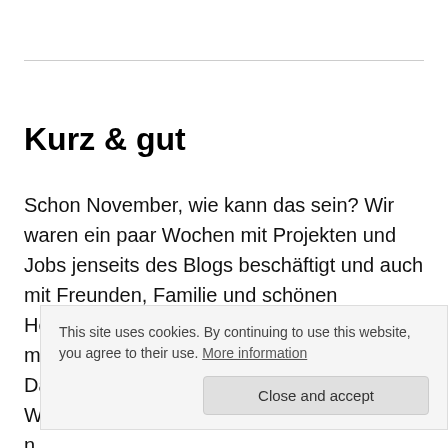Kurz & gut
Schon November, wie kann das sein? Wir waren ein paar Wochen mit Projekten und Jobs jenseits des Blogs beschäftigt und auch mit Freunden, Familie und schönen Herbstaktivitäten – und schwups, schon ist man einen Monat näher an Weihnachten. Dabei sind wir noch nicht mal annähernd in W... n... D... wochenlangem grauen Geniesel. Nicht , dass wir ein bisschen
This site uses cookies. By continuing to use this website, you agree to their use. More information
Close and accept